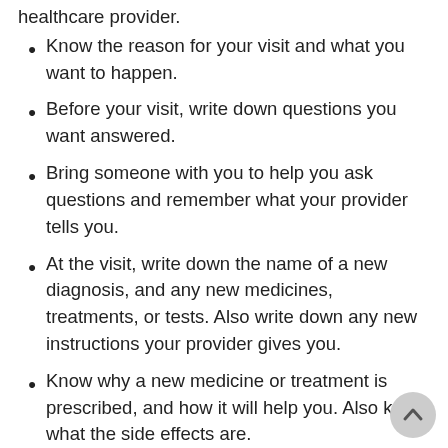healthcare provider.
Know the reason for your visit and what you want to happen.
Before your visit, write down questions you want answered.
Bring someone with you to help you ask questions and remember what your provider tells you.
At the visit, write down the name of a new diagnosis, and any new medicines, treatments, or tests. Also write down any new instructions your provider gives you.
Know why a new medicine or treatment is prescribed, and how it will help you. Also know what the side effects are.
Ask if your condition can be treated in other ways.
Know why a test or procedure is recommended and